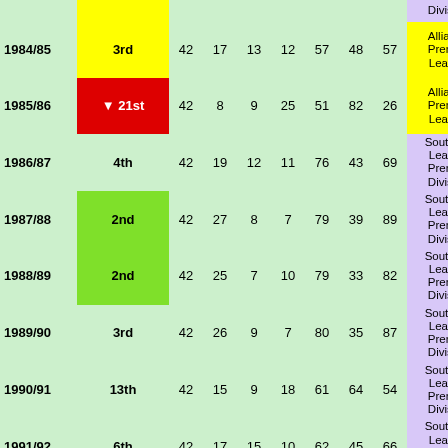| Season | Pos | P | W | D | L | F | A | Pts | League |
| --- | --- | --- | --- | --- | --- | --- | --- | --- | --- |
| 1984/85 | 3rd | 42 | 17 | 13 | 12 | 57 | 48 | 57 | Alliance Premier League |
| 1985/86 | ▼ 21st | 42 | 8 | 9 | 25 | 51 | 82 | 26 | Alliance Premier League |
| 1986/87 | 4th | 42 | 19 | 12 | 11 | 76 | 43 | 69 | Southern League Premier Division |
| 1987/88 | 2nd | 42 | 27 | 8 | 7 | 79 | 39 | 89 | Southern League Premier Division |
| 1988/89 | 2nd | 42 | 25 | 7 | 10 | 79 | 33 | 82 | Southern League Premier Division |
| 1989/90 | 3rd | 42 | 26 | 9 | 7 | 80 | 35 | 87 | Southern League Premier Division |
| 1990/91 | 13th | 42 | 15 | 9 | 18 | 61 | 64 | 54 | Southern League Premier Division |
| 1991/92 | 6th | 42 | 17 | 15 | 10 | 62 | 45 | 66 | Southern League Premier Division |